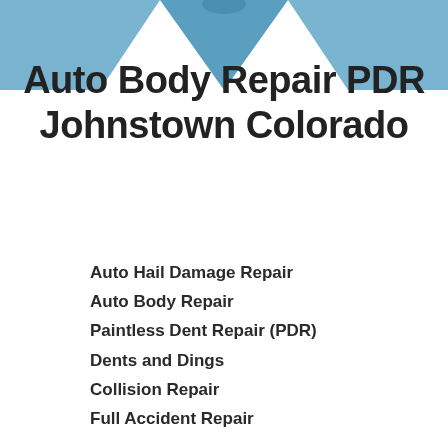[Figure (illustration): Blue decorative header banner with a downward-pointing triangular arrow shape in the center, light blue background]
Auto Body Repair PDR Johnstown Colorado
Auto Hail Damage Repair
Auto Body Repair
Paintless Dent Repair (PDR)
Dents and Dings
Collision Repair
Full Accident Repair